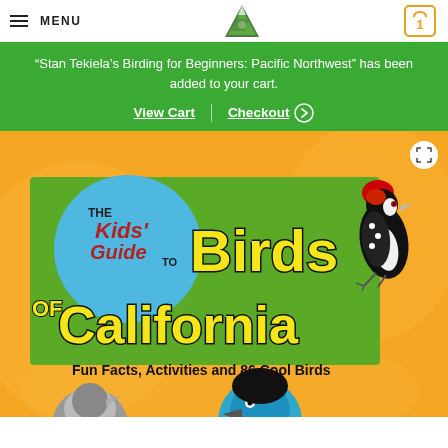MENU | [Logo] | Cart (1)
“Stan Tekiela’s Birding for Beginners: Pacific Northwest” has been added to your cart.
View Cart | Checkout
[Figure (illustration): Book cover for 'The Kids' Guide to Birds of California: Fun Facts, Activities and 86 Cool Birds'. Orange background with yellow bold text and a colorful acorn woodpecker on the right, blue circle logo on the left, green center panel. Subtitle: Fun Facts, Activities and 86 Cool Birds.]